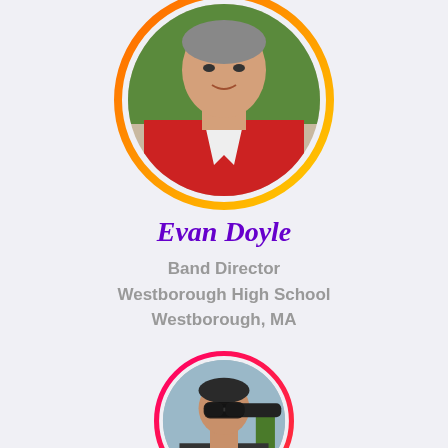[Figure (photo): Circular profile photo of Evan Doyle, a man in a red polo shirt, with orange-to-yellow gradient ring border, outdoors with green background]
Evan Doyle
Band Director
Westborough High School
Westborough, MA
[Figure (photo): Circular profile photo of a man wearing sunglasses, with pink-to-red gradient ring border, partially visible at bottom of page]